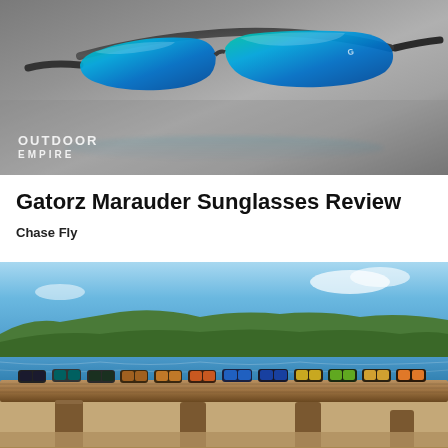[Figure (photo): Close-up photo of Gatorz Marauder sunglasses with blue-green mirrored lenses on a gray surface, with 'OUTDOOR EMPIRE' watermark in lower left]
Gatorz Marauder Sunglasses Review
Chase Fly
[Figure (photo): Multiple pairs of Gatorz sunglasses with various colored lenses lined up on a wooden railing in front of a lake and green tree-covered hillside backdrop]